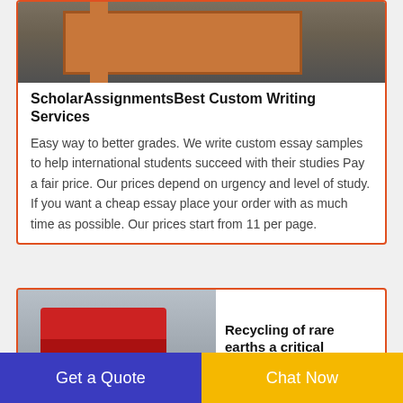[Figure (photo): Photo of orange metal shelf/furniture against a wall]
ScholarAssignmentsBest Custom Writing Services
Easy way to better grades. We write custom essay samples to help international students succeed with their studies Pay a fair price. Our prices depend on urgency and level of study. If you want a cheap essay place your order with as much time as possible. Our prices start from 11 per page.
[Figure (photo): Photo of a red industrial recycling/shredding machine]
Recycling of rare earths a critical
Get a Quote
Chat Now